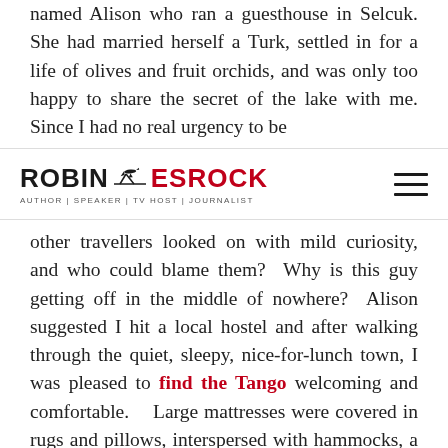named Alison who ran a guesthouse in Selcuk. She had married herself a Turk, settled in for a life of olives and fruit orchids, and was only too happy to share the secret of the lake with me. Since I had no real urgency to be
ROBIN ESROCK — AUTHOR | SPEAKER | TV HOST | JOURNALIST
other travellers looked on with mild curiosity, and who could blame them? Why is this guy getting off in the middle of nowhere? Alison suggested I hit a local hostel and after walking through the quiet, sleepy, nice-for-lunch town, I was pleased to find the Tango welcoming and comfortable. Large mattresses were covered in rugs and pillows, interspersed with hammocks, a bar and a DJ booth. There were just a straggling of backpackers, but the owner Sahin assured me things would pick up when the Fez Bus pulled in. The Fez is a hop-on hop-off backpacker bus with the deserved reputation of being a moving party. In anticipation, Sahin had organized a booze cruise on the lake for that evening. Enjoying the